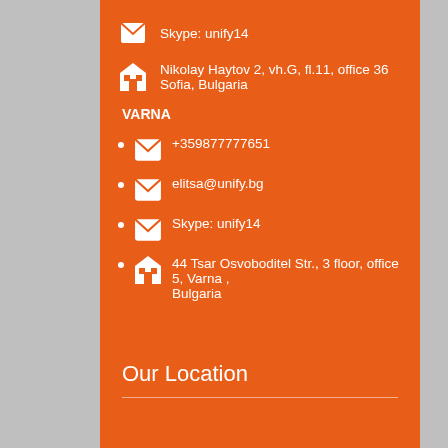Skype: unify14
Nikolay Haytov 2, vh.G, fl.11, office 36 Sofia, Bulgaria
VARNA
+359877777651
elitsa@unify.bg
Skype: unify14
44 Tsar Osvoboditel Str., 3 floor, office 5, Varna , Bulgaria
Our Location